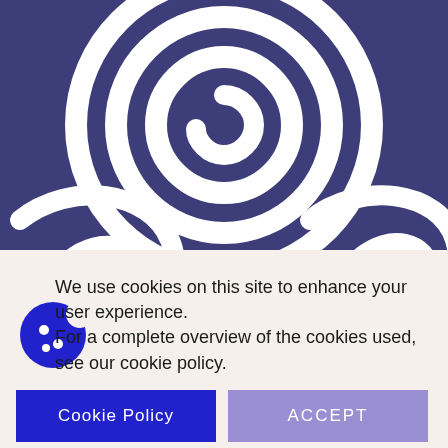[Figure (illustration): Purple/indigo background with large white spiral/swirl design in center and partial swirls at bottom-left and bottom-right]
[Figure (illustration): Blue cookie icon with white dots, representing browser cookies]
We use cookies on this site to enhance your user experience.
For a complete overview of the cookies used, see our cookie policy.
Cookie Policy
ACCEPT